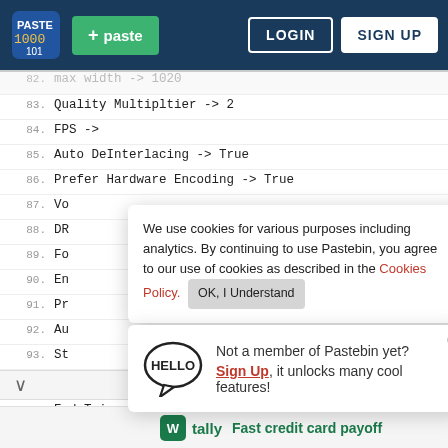[Figure (screenshot): Pastebin website screenshot showing navigation bar with logo, paste button, login and sign up buttons, code lines 82-93 with code content, a cookie consent popup, a member sign-up popup, and a Tally ad banner at the bottom.]
max width -> 1020
83. Quality Multipltier -> 2
84. FPS ->
85. Auto DeInterlacing -> True
86. Prefer Hardware Encoding -> True
87. Vo
88. DR
89. Fo
90. En
91. Pr
92. Au
93. St
We use cookies for various purposes including analytics. By continuing to use Pastebin, you agree to our use of cookies as described in the Cookies Policy. OK, I Understand
Not a member of Pastebin yet? Sign Up, it unlocks many cool features!
End Trim -> 0
tally Fast credit card payoff